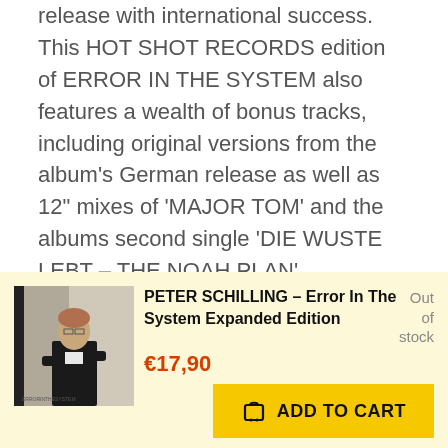release with international success. This HOT SHOT RECORDS edition of ERROR IN THE SYSTEM also features a wealth of bonus tracks, including original versions from the album's German release as well as 12" mixes of 'MAJOR TOM' and the albums second single 'DIE WUSTE LEBT – THE NOAH PLAN'.

HOT SHOT RECORDS is thrilled to present this expanded
[Figure (photo): Album cover thumbnail of Peter Schilling – Error In The System Expanded Edition, showing a man in a black jacket]
PETER SCHILLING – Error In The System Expanded Edition
Out of stock
€17,90
ADD TO CART